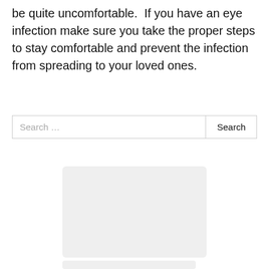be quite uncomfortable.  If you have an eye infection make sure you take the proper steps to stay comfortable and prevent the infection from spreading to your loved ones.
[Figure (other): Search bar with placeholder text 'Search …' and a Search button on the right]
[Figure (other): Light gray placeholder rectangle, likely an advertisement or image placeholder]
[Figure (other): Second light gray placeholder rectangle at the bottom of the page]